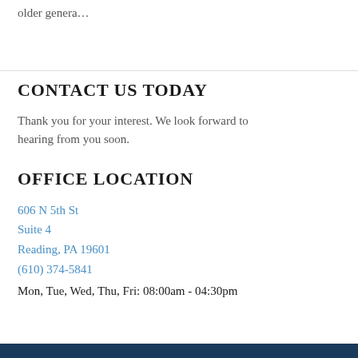older genera…
CONTACT US TODAY
Thank you for your interest. We look forward to hearing from you soon.
OFFICE LOCATION
606 N 5th St
Suite 4
Reading, PA 19601
(610) 374-5841
Mon, Tue, Wed, Thu, Fri: 08:00am - 04:30pm